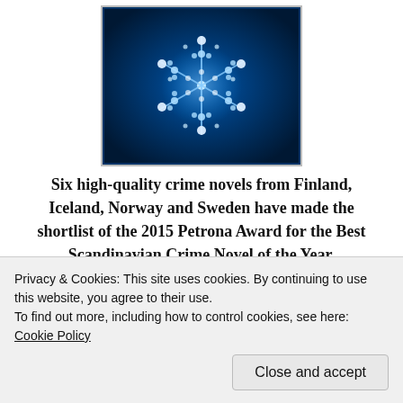[Figure (illustration): A book cover image showing a glowing snowflake made of diamonds/crystals on a dark blue background, displayed in a bordered frame.]
Six high-quality crime novels from Finland, Iceland, Norway and Sweden have made the shortlist of the 2015 Petrona Award for the Best Scandinavian Crime Novel of the Year,
Privacy & Cookies: This site uses cookies. By continuing to use this website, you agree to their use.
To find out more, including how to control cookies, see here: Cookie Policy